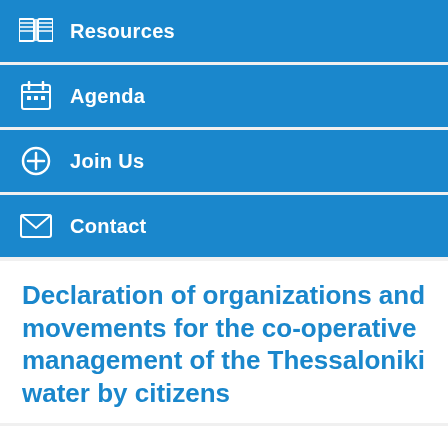Resources
Agenda
Join Us
Contact
Declaration of organizations and movements for the co-operative management of the Thessaloniki water by citizens
[Figure (logo): Circular logo with Greek text 'στα χέρια των' in blue italic letters on white background, partially visible at bottom of page]